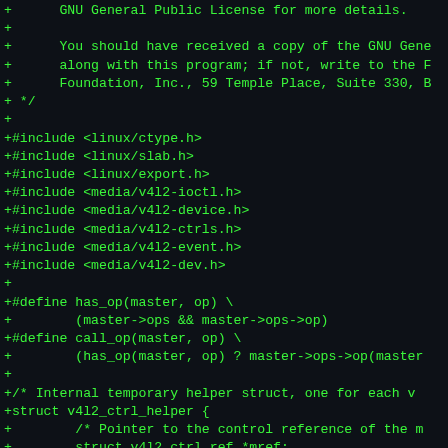+      GNU General Public License for more details.
+
+      You should have received a copy of the GNU Gene
+      along with this program; if not, write to the F
+      Foundation, Inc., 59 Temple Place, Suite 330, B
+ */
+
+#include <linux/ctype.h>
+#include <linux/slab.h>
+#include <linux/export.h>
+#include <media/v4l2-ioctl.h>
+#include <media/v4l2-device.h>
+#include <media/v4l2-ctrls.h>
+#include <media/v4l2-event.h>
+#include <media/v4l2-dev.h>
+
+#define has_op(master, op) \
+        (master->ops && master->ops->op)
+#define call_op(master, op) \
+        (has_op(master, op) ? master->ops->op(master
+
+/* Internal temporary helper struct, one for each v
+struct v4l2_ctrl_helper {
+        /* Pointer to the control reference of the m
+        struct v4l2_ctrl_ref *mref;
+        /* The control corresponding to the v4l2_ext
+        struct v4l2_ctrl *ctrl;
+        /* v4l2_ext_control index of the next contro
+           same cluster, or 0 if there isn't any. */
+        u32 next;